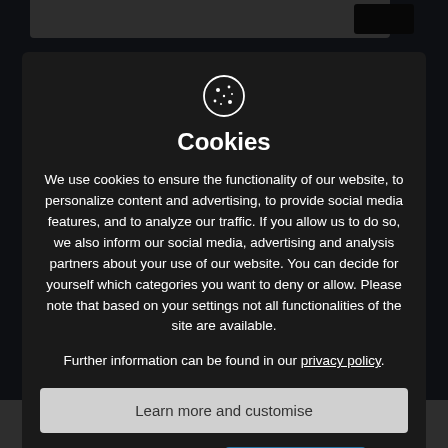[Figure (screenshot): Cookie consent modal dialog on a dark overlay background. Shows a cookie icon, title 'Cookies', descriptive text about cookie usage, a link to privacy policy, and three buttons: 'Learn more and customise', 'Reject All', and 'Accept All'.]
Cookies
We use cookies to ensure the functionality of our website, to personalize content and advertising, to provide social media features, and to analyze our traffic. If you allow us to do so, we also inform our social media, advertising and analysis partners about your use of our website. You can decide for yourself which categories you want to deny or allow. Please note that based on your settings not all functionalities of the site are available.
Further information can be found in our privacy policy.
lithium abundance are at the evolutionary stage